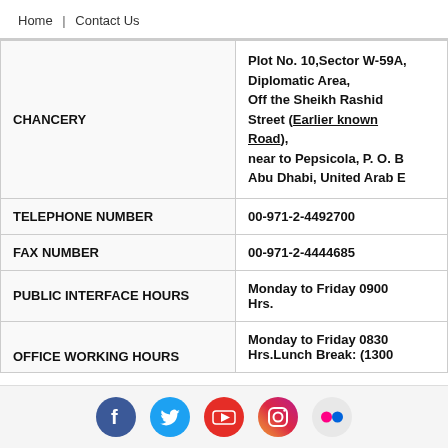Home | Contact Us
|  |  |
| --- | --- |
| CHANCERY | Plot No. 10,Sector W-59A, Diplomatic Area, Off the Sheikh Rashid Street (Earlier known Road), near to Pepsicola, P. O. B... Abu Dhabi, United Arab E... |
| TELEPHONE NUMBER | 00-971-2-4492700 |
| FAX NUMBER | 00-971-2-4444685 |
| PUBLIC INTERFACE HOURS | Monday to Friday 0900 Hrs. |
| OFFICE WORKING HOURS | Monday to Friday 0830 Hrs.Lunch Break: (1300... |